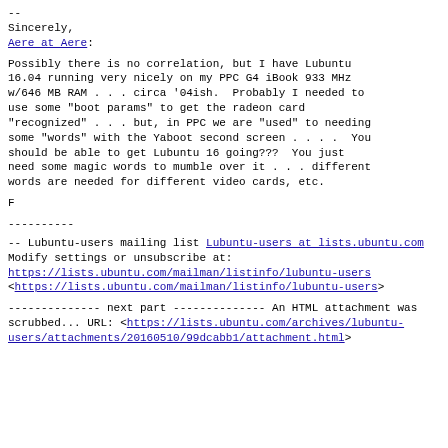--
Sincerely,
Aere at Aere:
Possibly there is no correlation, but I have Lubuntu 16.04 running very nicely on my PPC G4 iBook 933 MHz w/646 MB RAM . . . circa '04ish.  Probably I needed to use some "boot params" to get the radeon card "recognized" . . . but, in PPC we are "used" to needing some "words" with the Yaboot second screen . . . .  You should be able to get Lubuntu 16 going???  You just need some magic words to mumble over it . . . different words are needed for different video cards, etc.
F
----------
--
Lubuntu-users mailing list
Lubuntu-users at lists.ubuntu.com
Modify settings or unsubscribe at:
https://lists.ubuntu.com/mailman/listinfo/lubuntu-users
<https://lists.ubuntu.com/mailman/listinfo/lubuntu-users>
-------------- next part --------------
An HTML attachment was scrubbed...
URL: <https://lists.ubuntu.com/archives/lubuntu-users/attachments/20160510/99dcabb1/attachment.html>